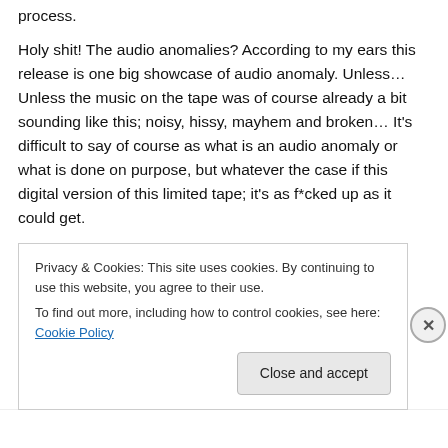process.
Holy shit! The audio anomalies? According to my ears this release is one big showcase of audio anomaly. Unless… Unless the music on the tape was of course already a bit sounding like this; noisy, hissy, mayhem and broken… It's difficult to say of course as what is an audio anomaly or what is done on purpose, but whatever the case if this digital version of this limited tape; it's as f*cked up as it could get.
Perhaps the audio anomalies should have given the real
Privacy & Cookies: This site uses cookies. By continuing to use this website, you agree to their use.
To find out more, including how to control cookies, see here: Cookie Policy
Close and accept